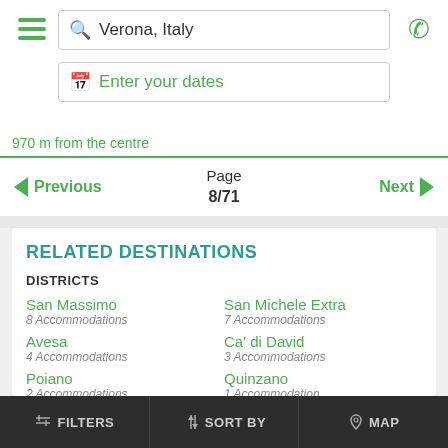Verona, Italy | Enter your dates
970 m from the centre
Previous | Page 8/71 | Next
RELATED DESTINATIONS
DISTRICTS
San Massimo
8 Accommodations
San Michele Extra
7 Accommodations
Avesa
4 Accommodations
Ca' di David
3 Accommodations
Poiano
2 Accommodations
Quinzano
1 Accommodation
Parona di Valpolicella
FILTERS | SORT BY | MAP